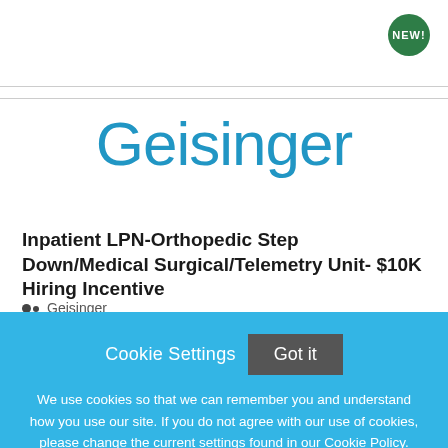[Figure (logo): NEW! badge - green circle with white text]
Geisinger
Inpatient LPN-Orthopedic Step Down/Medical Surgical/Telemetry Unit- $10K Hiring Incentive
Geisinger
Cookie Settings  Got it
We use cookies so that we can remember you and understand how you use our site. If you do not agree with our use of cookies, please change the current settings found in our Cookie Policy. Otherwise, you agree to the use of the cookies as they are currently set.